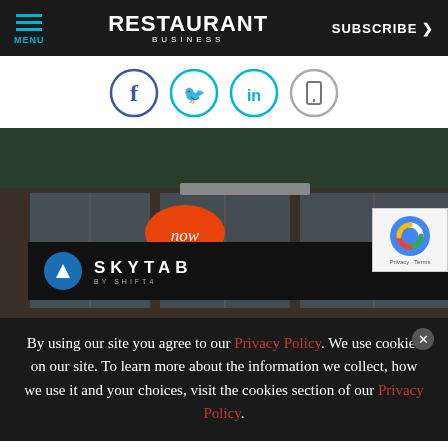MENU | RESTAURANT BUSINESS | SUBSCRIBE >
[Figure (screenshot): Social media share icons: Facebook (f), Twitter (bird), LinkedIn (in), Mobile device — circular icons in blue/teal outlines]
[Figure (photo): Restaurant storefront with neon yellow-green 'Now Hollering' graffiti-style text on window; orange oval 'Now' sign; dark overlay ad banner for SKYTAB BY SHIFT4; reCAPTCHA badge visible in corner]
By using our site you agree to our Privacy Policy. We use cookies on our site. To learn more about the information we collect, how we use it and your choices, visit the cookies section of our Privacy Policy.